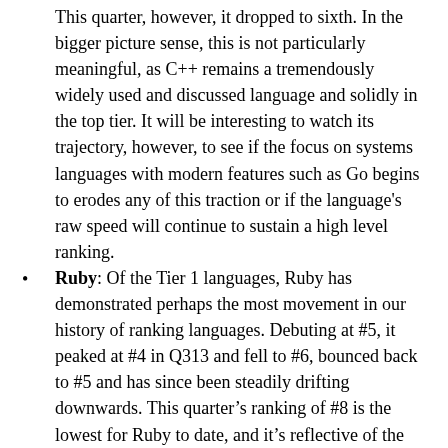This quarter, however, it dropped to sixth. In the bigger picture sense, this is not particularly meaningful, as C++ remains a tremendously widely used and discussed language and solidly in the top tier. It will be interesting to watch its trajectory, however, to see if the focus on systems languages with modern features such as Go begins to erodes any of this traction or if the language's raw speed will continue to sustain a high level ranking.
Ruby: Of the Tier 1 languages, Ruby has demonstrated perhaps the most movement in our history of ranking languages. Debuting at #5, it peaked at #4 in Q313 and fell to #6, bounced back to #5 and has since been steadily drifting downwards. This quarter's ranking of #8 is the lowest for Ruby to date, and it's reflective of the parts that appear every so often on Hacker